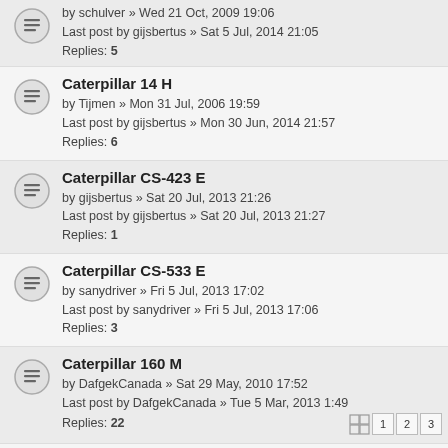by schulver » Wed 21 Oct, 2009 19:06
Last post by gijsbertus » Sat 5 Jul, 2014 21:05
Replies: 5
Caterpillar 14 H
by Tijmen » Mon 31 Jul, 2006 19:59
Last post by gijsbertus » Mon 30 Jun, 2014 21:57
Replies: 6
Caterpillar CS-423 E
by gijsbertus » Sat 20 Jul, 2013 21:26
Last post by gijsbertus » Sat 20 Jul, 2013 21:27
Replies: 1
Caterpillar CS-533 E
by sanydriver » Fri 5 Jul, 2013 17:02
Last post by sanydriver » Fri 5 Jul, 2013 17:06
Replies: 3
Caterpillar 160 M
by DafgekCanada » Sat 29 May, 2010 17:52
Last post by DafgekCanada » Tue 5 Mar, 2013 1:49
Replies: 22
Caterpillar 24 M
by cat-king » Mon 5 Nov, 2012 17:15
Last post by cat-king » Mon 5 Nov, 2012 17:16